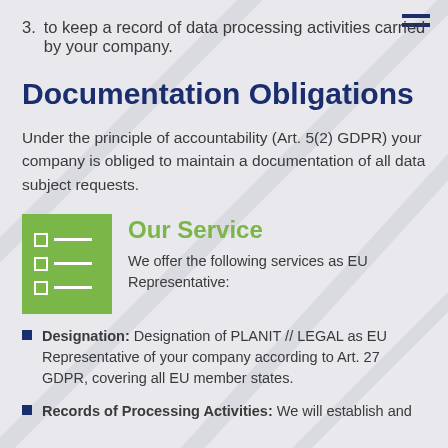3. to keep a record of data processing activities carried by your company.
Documentation Obligations
Under the principle of accountability (Art. 5(2) GDPR) your company is obliged to maintain a documentation of all data subject requests.
[Figure (illustration): Green square icon with three checkbox rows (white outlined squares with white horizontal lines)]
Our Service
We offer the following services as EU Representative:
Designation: Designation of PLANIT // LEGAL as EU Representative of your company according to Art. 27 GDPR, covering all EU member states.
Records of Processing Activities: We will establish and